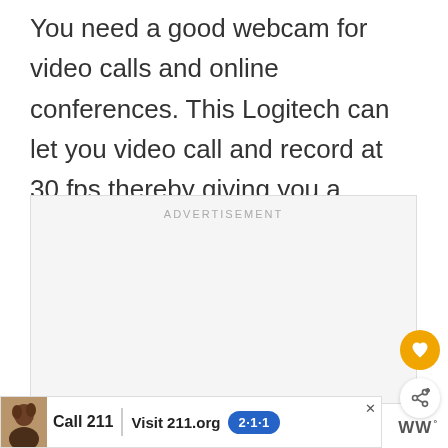You need a good webcam for video calls and online conferences. This Logitech can let you video call and record at 30 fps thereby giving you a strong impression.
[Figure (other): Advertisement placeholder box with label ADVERTISEMENT in light gray text on a light gray background]
[Figure (other): Heart (favorite) button — circular golden/orange button with white heart icon]
[Figure (other): Share button — circular white button with share/network icon]
[Figure (other): Bottom advertisement banner: Call 211 | Visit 211.org with blue 2-1-1 badge logo, person photo, and close X button. WW logo at bottom right.]